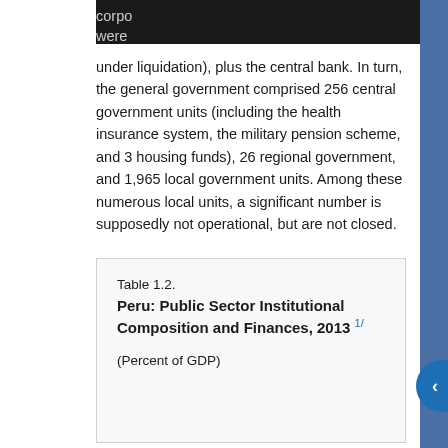under liquidation), plus the central bank. In turn, the general government comprised 256 central government units (including the health insurance system, the military pension scheme, and 3 housing funds), 26 regional government, and 1,965 local government units. Among these numerous local units, a significant number is supposedly not operational, but are not closed.
Table 1.2.
Peru: Public Sector Institutional Composition and Finances, 2013 1/
(Percent of GDP)